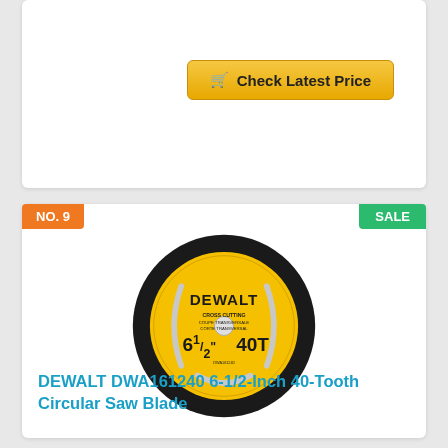Check Latest Price
NO. 9
SALE
[Figure (photo): DEWALT DWA161240 6-1/2-Inch 40-Tooth circular saw blade, yellow and black, with DeWalt branding]
DEWALT DWA161240 6-1/2-Inch 40-Tooth Circular Saw Blade